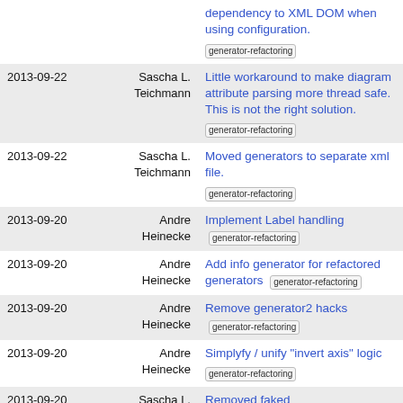| Date | Author | Message |
| --- | --- | --- |
|  |  | dependency to XML DOM when using configuration.
generator-refactoring |
| 2013-09-22 | Sascha L. Teichmann | Little workaround to make diagram attribute parsing more thread safe. This is not the right solution.
generator-refactoring |
| 2013-09-22 | Sascha L. Teichmann | Moved generators to separate xml file.
generator-refactoring |
| 2013-09-20 | Andre Heinecke | Implement Label handling
generator-refactoring |
| 2013-09-20 | Andre Heinecke | Add info generator for refactored generators
generator-refactoring |
| 2013-09-20 | Andre Heinecke | Remove generator2 hacks
generator-refactoring |
| 2013-09-20 | Andre Heinecke | Simplyfy / unify "invert axis" logic
generator-refactoring |
| 2013-09-20 | Sascha L. Teichmann | Removed faked ChartInfoGenerator2 |